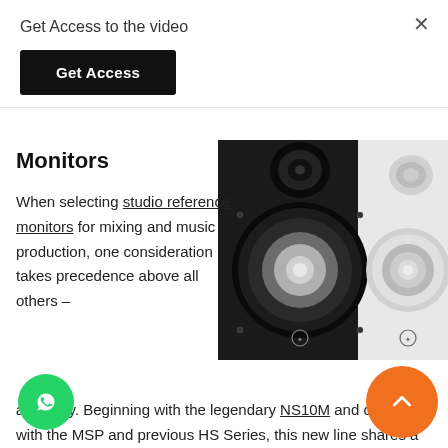Get Access to the video
Get Access
Monitors
[Figure (photo): Two studio monitor speakers side by side — one black (Yamaha HS series) and one white — showing woofer cones and tweeters]
When selecting studio reference monitors for mixing and music production, one consideration takes precedence above all others – accuracy. Beginning with the legendary NS10M and continuing with the MSP and previous HS Series, this new line shares a design philosophy that emphasizes sonic purity without any coloring or alternation of the original sound.
[Figure (illustration): WhatsApp green circle icon]
[Figure (illustration): Orange circle with upward chevron arrow]